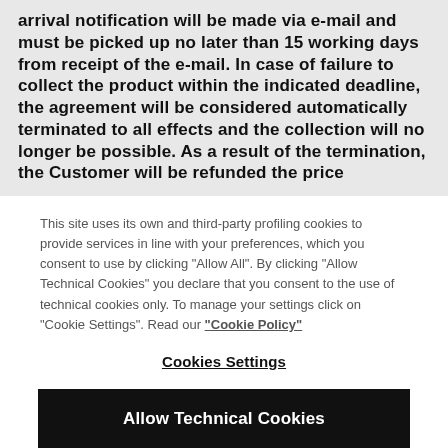arrival notification will be made via e-mail and must be picked up no later than 15 working days from receipt of the e-mail. In case of failure to collect the product within the indicated deadline, the agreement will be considered automatically terminated to all effects and the collection will no longer be possible. As a result of the termination, the Customer will be refunded the price
This site uses its own and third-party profiling cookies to provide services in line with your preferences, which you consent to use by clicking "Allow All". By clicking "Allow Technical Cookies" you declare that you consent to the use of technical cookies only. To manage your settings click on "Cookie Settings". Read our "Cookie Policy"
Cookies Settings
Allow Technical Cookies
Allow All